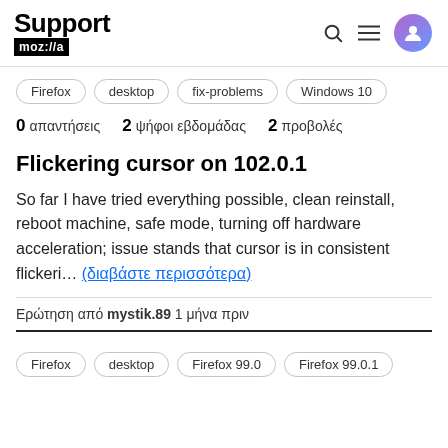Support mozilla // [search] [menu] [avatar]
Firefox
desktop
fix-problems
Windows 10
0 απαντήσεις  2 ψήφοι εβδομάδας  2 προβολές
Flickering cursor on 102.0.1
So far I have tried everything possible, clean reinstall, reboot machine, safe mode, turning off hardware acceleration; issue stands that cursor is in consistent flickeri… (διαβάστε περισσότερα)
Ερώτηση από mystik.89 1 μήνα πριν
Firefox
desktop
Firefox 99.0
Firefox 99.0.1